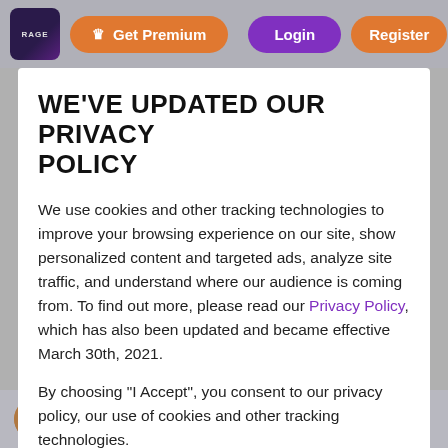Get Premium | Login | Register
WE'VE UPDATED OUR PRIVACY POLICY
We use cookies and other tracking technologies to improve your browsing experience on our site, show personalized content and targeted ads, analyze site traffic, and understand where our audience is coming from. To find out more, please read our Privacy Policy, which has also been updated and became effective March 30th, 2021.
By choosing "I Accept", you consent to our privacy policy, our use of cookies and other tracking technologies.
I Accept
AntiTHIRST
6 hours ago